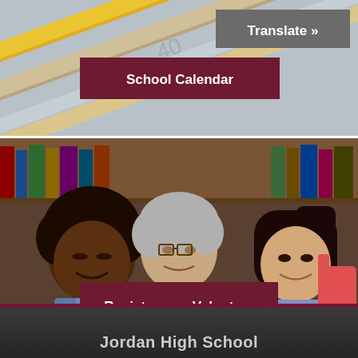[Figure (photo): School pencils/calendar background image with Translate button overlay]
[Figure (photo): Teacher and two students reading in a library, with Register as a Volunteer button overlay]
[Figure (photo): Yellow Canyons School District bus close-up, with Bus Information button overlay]
Jordan High School